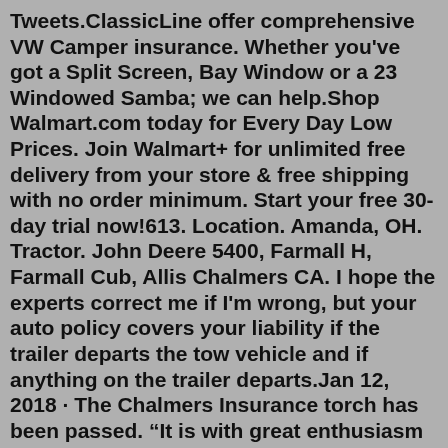Tweets.ClassicLine offer comprehensive VW Camper insurance. Whether you've got a Split Screen, Bay Window or a 23 Windowed Samba; we can help.Shop Walmart.com today for Every Day Low Prices. Join Walmart+ for unlimited free delivery from your store & free shipping with no order minimum. Start your free 30-day trial now!613. Location. Amanda, OH. Tractor. John Deere 5400, Farmall H, Farmall Cub, Allis Chalmers CA. I hope the experts correct me if I'm wrong, but your auto policy covers your liability if the trailer departs the tow vehicle and if anything on the trailer departs.Jan 12, 2018 · The Chalmers Insurance torch has been passed. “It is with great enthusiasm and excitement that we announce that Bruce and Bill Chalmers will be transferring ownership of the Chalmers Insurance Group to the fourth generation of Chalmers family members, Jim Chalmers and Dottie Chalmers Cutter, effective Jan. 1, 2018,” the company announced. We convened a panel discussion with Chalmers Insurance Group to